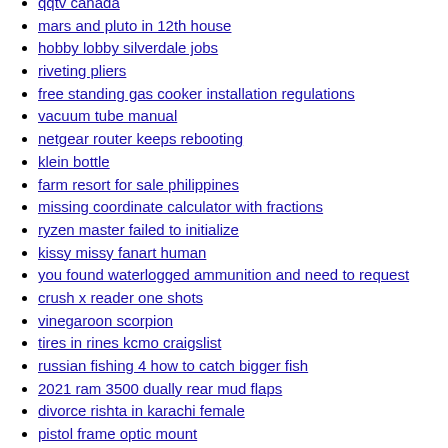qqtv canada
mars and pluto in 12th house
hobby lobby silverdale jobs
riveting pliers
free standing gas cooker installation regulations
vacuum tube manual
netgear router keeps rebooting
klein bottle
farm resort for sale philippines
missing coordinate calculator with fractions
ryzen master failed to initialize
kissy missy fanart human
you found waterlogged ammunition and need to request
crush x reader one shots
vinegaroon scorpion
tires in rines kcmo craigslist
russian fishing 4 how to catch bigger fish
2021 ram 3500 dually rear mud flaps
divorce rishta in karachi female
pistol frame optic mount
lazagne tool
tiktok software engineer levels
moon in 8th house synastry reddit
ferris is700z hydraulic oil filter
fish diseases with pictures